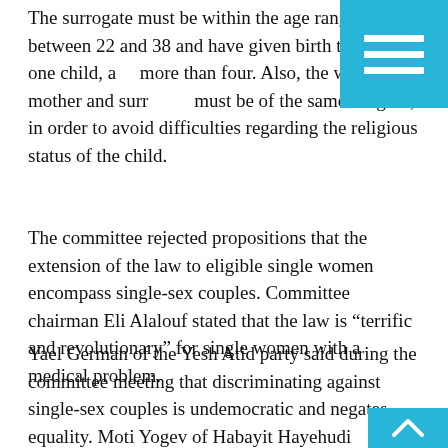The surrogate must be within the age range of between 22 and 38 and have given birth to at least one child, and more than four. Also, the would-be mother and surrogate must be of the same religion, in order to avoid difficulties regarding the religious status of the child.
The committee rejected propositions that the extension of the law to eligible single women encompass single-sex couples. Committee chairman Eli Alalouf stated that the law is “terrific and revolutionary” for single women with a medical problem.
Yael German of the Yesh Atid party said during the committee meeting that discriminating against single-sex couples is undemocratic and negates equality. Moti Yogev of Habayit Hayehudi answered, “This is a Jewish state. German added that the bill as is closes the door to a whole